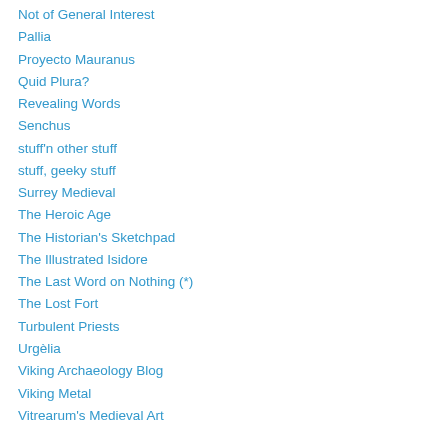Not of General Interest
Pallia
Proyecto Mauranus
Quid Plura?
Revealing Words
Senchus
stuff'n other stuff
stuff, geeky stuff
Surrey Medieval
The Heroic Age
The Historian's Sketchpad
The Illustrated Isidore
The Last Word on Nothing (*)
The Lost Fort
Turbulent Priests
Urgèlia
Viking Archaeology Blog
Viking Metal
Vitrearum's Medieval Art